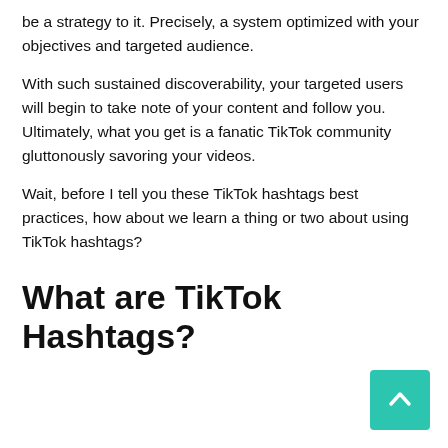be a strategy to it. Precisely, a system optimized with your objectives and targeted audience.
With such sustained discoverability, your targeted users will begin to take note of your content and follow you. Ultimately, what you get is a fanatic TikTok community gluttonously savoring your videos.
Wait, before I tell you these TikTok hashtags best practices, how about we learn a thing or two about using TikTok hashtags?
What are TikTok Hashtags?